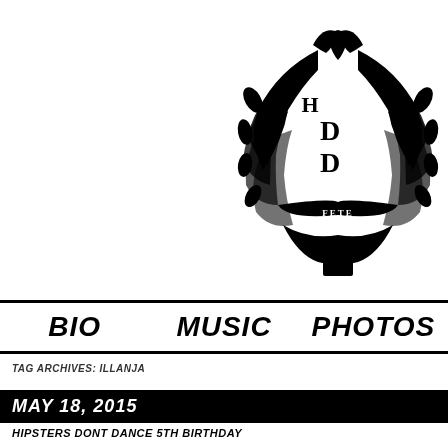[Figure (logo): Circular emblem/logo with laurel wreath, banner reading 'FETE', stylized letters H, D inside, partially cropped on right edge. Black and white illustration style.]
BIO    MUSIC    PHOTOS
TAG ARCHIVES: ILLANJA
MAY 18, 2015
HIPSTERS DONT DANCE 5TH BIRTHDAY